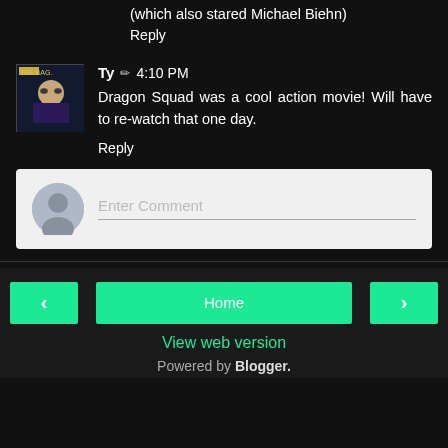(which also stared Michael Biehn)
Reply
Ty ✏ 4:10 PM
Dragon Squad was a cool action movie! Will have to re-watch that one day.
Reply
Enter Comment
Home
View web version
Powered by Blogger.